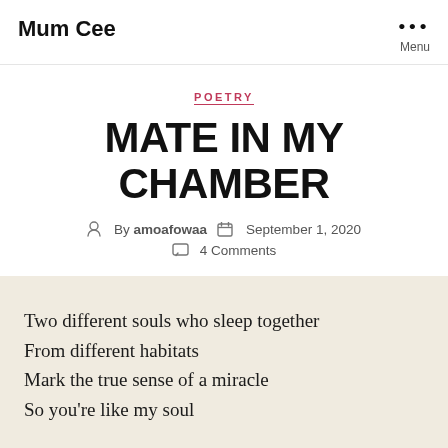Mum Cee
POETRY
MATE IN MY CHAMBER
By amoafowaa  September 1, 2020  4 Comments
Two different souls who sleep together
From different habitats
Mark the true sense of a miracle
So you're like my soul